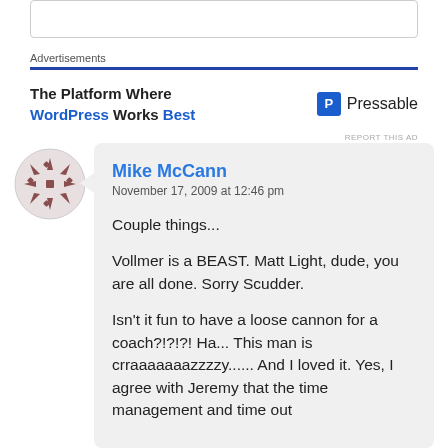[Figure (other): Top input/search box (partial, cropped at top)]
Advertisements
[Figure (other): Advertisement banner: The Platform Where WordPress Works Best — Pressable logo]
REPORT THIS AD
[Figure (other): User avatar: decorative star/snowflake pattern in dark red/maroon]
Mike McCann
November 17, 2009 at 12:46 pm

Couple things...

Vollmer is a BEAST. Matt Light, dude, you are all done. Sorry Scudder.

Isn't it fun to have a loose cannon for a coach?!?!?! Ha... This man is crraaaaaaazzzzy...... And I loved it. Yes, I agree with Jeremy that the time management and time out